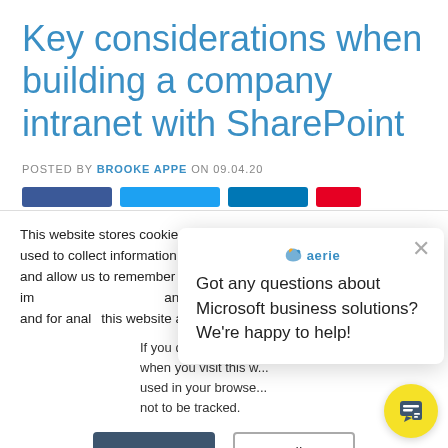Key considerations when building a company intranet with SharePoint
POSTED BY BROOKE APPE ON 09.04.20
This website stores cookies on your computer. These cookies are used to collect information about how you interact with our website and allow us to remember you. We use this information in order to im... and customize your browsing experience and for anal... this website and other media. To f... our Privacy Policy.
If you decline, your i... when you visit this w... used in your browse... not to be tracked.
[Figure (screenshot): Chat popup with Aerie logo asking 'Got any questions about Microsoft business solutions? We're happy to help!' with a close X button]
Accept | Decline buttons for cookie consent